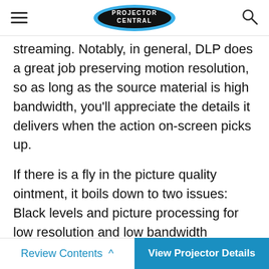Projector Central
streaming. Notably, in general, DLP does a great job preserving motion resolution, so as long as the source material is high bandwidth, you'll appreciate the details it delivers when the action on-screen picks up.
If there is a fly in the picture quality ointment, it boils down to two issues: Black levels and picture processing for low resolution and low bandwidth content.
The elevated black levels are a common issue with many DLP projectors, and the lack of a dynamic iris on this model exacerbates this effect. Therefore, I would not recommend this projector as a first choice for dedicated
Review Contents  View Projector Details